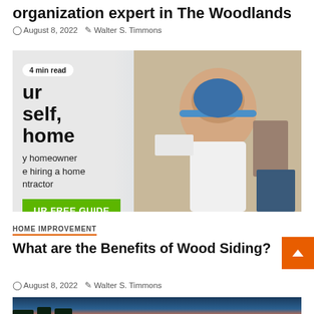organization expert in The Woodlands
August 8, 2022   Walter S. Timmons
[Figure (photo): A man wearing a blue hard hat and white t-shirt, appearing to consult with someone, with overlaid text reading 'yourself, home', 'homeowner', 'hiring a home', 'ntractor', and a green button 'UR FREE GUIDE'. A badge reads '4 min read'.]
HOME IMPROVEMENT
What are the Benefits of Wood Siding?
August 8, 2022   Walter S. Timmons
[Figure (photo): Partial view of a landscape photo showing trees against a twilight sky with orange and blue tones.]